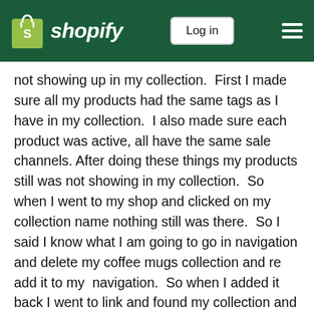Shopify — Log in
not showing up in my collection.  First I made sure all my products had the same tags as I have in my collection.  I also made sure each product was active, all have the same sale channels. After doing these things my products still was not showing in my collection.  So when I went to my shop and clicked on my collection name nothing still was there.  So I said I know what I am going to go in navigation and delete my coffee mugs collection and re add it to my  navigation.  So when I added it back I went to link and found my collection and then it pop up the collection name and it automatically fill in the name of my collection.  I didn't used any tags for my collection in